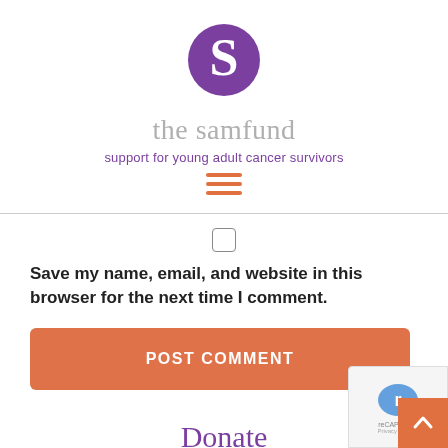[Figure (logo): The Samfund logo: purple stylized S letter in a circle, above the text 'the samfund' and tagline 'support for young adult cancer survivors']
the samfund
support for young adult cancer survivors
[Figure (other): Hamburger menu icon with three orange horizontal bars]
Save my name, email, and website in this browser for the next time I comment.
[Figure (other): POST COMMENT button, orange rounded rectangle]
Donate
With your support, young adult cancer...